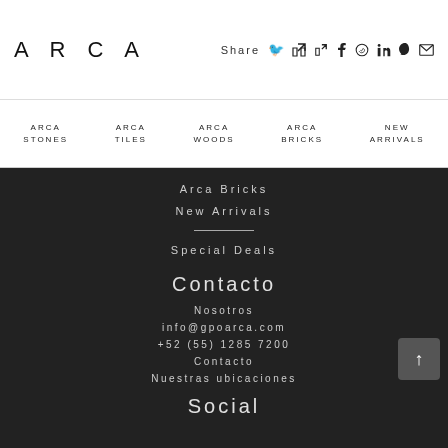ARCA
Share
ARCA STONES
ARCA TILES
ARCA WOODS
ARCA BRICKS
NEW ARRIVALS
Arca Bricks
New Arrivals
Special Deals
Contacto
Nosotros
info@gpoarca.com
+52 (55) 1285 7200
Contacto
Nuestras ubicaciones
Social